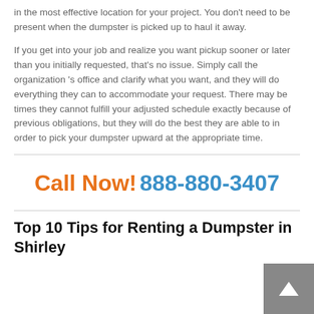in the most effective location for your project. You don't need to be present when the dumpster is picked up to haul it away.
If you get into your job and realize you want pickup sooner or later than you initially requested, that's no issue. Simply call the organization 's office and clarify what you want, and they will do everything they can to accommodate your request. There may be times they cannot fulfill your adjusted schedule exactly because of previous obligations, but they will do the best they are able to in order to pick your dumpster upward at the appropriate time.
Call Now! 888-880-3407
Top 10 Tips for Renting a Dumpster in Shirley